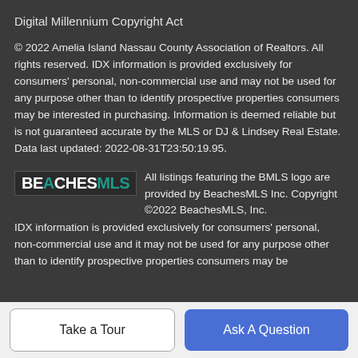Digital Millennium Copyright Act
© 2022 Amelia Island Nassau County Association of Realtors. All rights reserved. IDX information is provided exclusively for consumers' personal, non-commercial use and may not be used for any purpose other than to identify prospective properties consumers may be interested in purchasing. Information is deemed reliable but is not guaranteed accurate by the MLS or DJ & Lindsey Real Estate. Data last updated: 2022-08-31T23:50:19.95.
[Figure (logo): BeachesMLS logo — bold white BEACHES text with teal arch and teal MLS text]
All listings featuring the BMLS logo are provided by BeachesMLS Inc. Copyright ©2022 BeachesMLS, Inc.
IDX information is provided exclusively for consumers' personal, non-commercial use and it may not be used for any purpose other than to identify prospective properties consumers may be
Take a Tour
Ask A Question